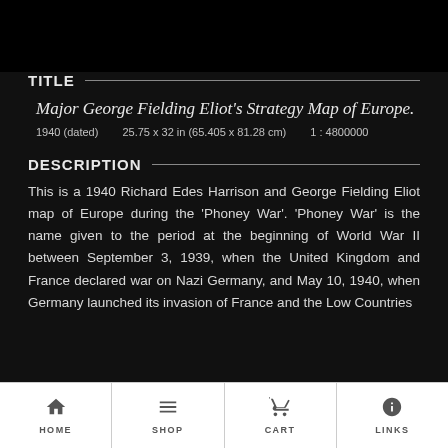TITLE
Major George Fielding Eliot's Strategy Map of Europe.
1940 (dated)    25.75 x 32 in (65.405 x 81.28 cm)    1 : 4800000
DESCRIPTION
This is a 1940 Richard Edes Harrison and George Fielding Eliot map of Europe during the 'Phoney War'. 'Phoney War' is the name given to the period at the beginning of World War II between September 3, 1939, when the United Kingdom and France declared war on Nazi Germany, and May 10, 1940, when Germany launched its invasion of France and the Low Countries
HOME  SHOP  CART  LINKS